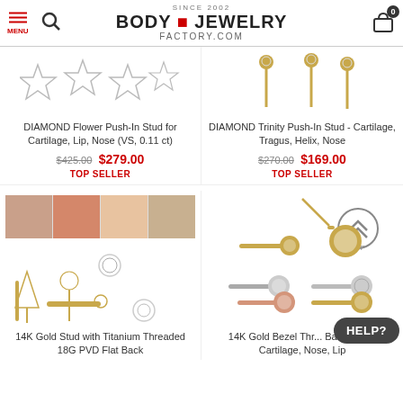SINCE 2002 BODY JEWELRY FACTORY.COM
[Figure (photo): DIAMOND Flower Push-In Stud jewelry product image - star shaped crystal studs]
DIAMOND Flower Push-In Stud for Cartilage, Lip, Nose (VS, 0.11 ct)
$425.00 $279.00 TOP SELLER
[Figure (photo): DIAMOND Trinity Push-In Stud jewelry product image - gold posts with diamond clusters]
DIAMOND Trinity Push-In Stud - Cartilage, Tragus, Helix, Nose
$270.00 $169.00 TOP SELLER
[Figure (photo): 14K Gold Stud with Titanium Threaded 18G PVD Flat Back - collage of product photos and stud variations]
14K Gold Stud with Titanium Threaded 18G PVD Flat Back
[Figure (photo): 14K Gold Bezel Threaded Back Stud - Cartilage, Nose, Lip - multiple stud variations in gold and silver]
14K Gold Bezel Threaded Back Stud - Cartilage, Nose, Lip